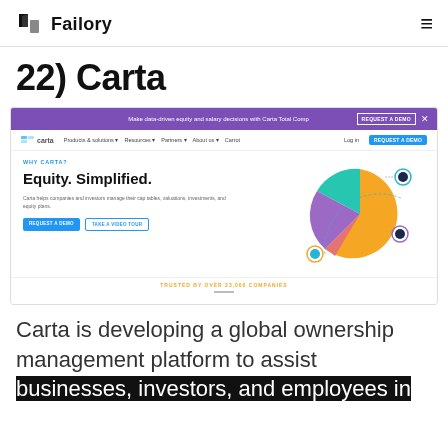Failory
22) Carta
[Figure (screenshot): Screenshot of Carta website showing purple announcement banner, navigation bar with logo and links, hero section with 'Equity. Simplified.' headline and pie chart graphic, and 'TRUSTED BY OVER 23,000 COMPANIES' footer text]
Carta is developing a global ownership management platform to assist businesses, investors, and employees in